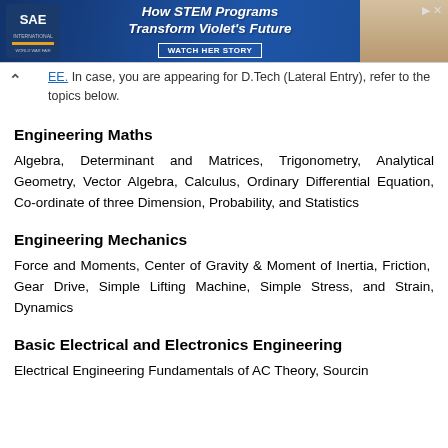[Figure (other): SAE advertisement banner: How STEM Programs Transform Violet's Future - WATCH HER STORY]
In case, you are appearing for D.Tech (Lateral Entry), refer to the topics below.
Engineering Maths
Algebra, Determinant and Matrices, Trigonometry, Analytical Geometry, Vector Algebra, Calculus, Ordinary Differential Equation, Co-ordinate of three Dimension, Probability, and Statistics
Engineering Mechanics
Force and Moments, Center of Gravity & Moment of Inertia, Friction,  Gear Drive, Simple Lifting Machine, Simple Stress, and Strain, Dynamics
Basic Electrical and Electronics Engineering
Electrical Engineering Fundamentals of AC Theory, Sourcin...